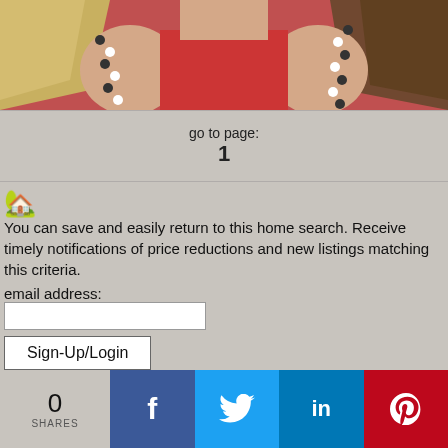[Figure (photo): Photo of two people wearing red clothing, one with blonde hair on left, one with dark hair on right, both wearing beaded necklaces]
go to page:
1
You can save and easily return to this home search. Receive timely notifications of price reductions and new listings matching this criteria.
email address:
Sign-Up/Login
0
SHARES